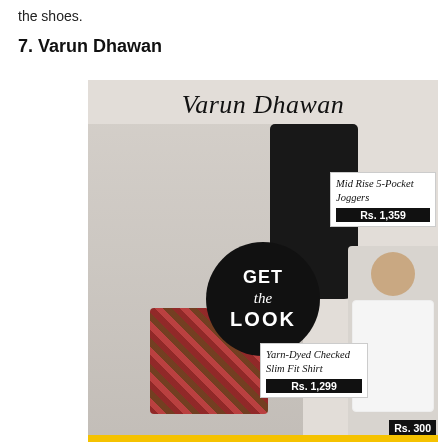the shoes.
7. Varun Dhawan
[Figure (infographic): Fashion infographic titled 'Varun Dhawan' showing a celebrity look with products: Mid Rise 5-Pocket Joggers at Rs. 1,359; Yarn-Dyed Checked Slim Fit Shirt at Rs. 1,299; and a partially visible item at Rs. 300. A 'GET the LOOK' black circle badge is displayed in the center.]